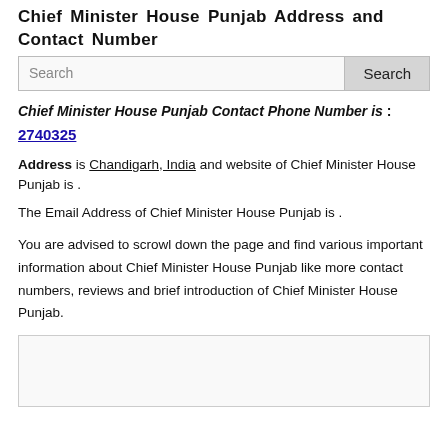Chief Minister House Punjab Address and Contact Number
[Figure (screenshot): Search bar with text input field and Search button]
Chief Minister House Punjab Contact Phone Number is : 2740325
Address is Chandigarh, India and website of Chief Minister House Punjab is .
The Email Address of Chief Minister House Punjab is .
You are advised to scrowl down the page and find various important information about Chief Minister House Punjab like more contact numbers, reviews and brief introduction of Chief Minister House Punjab.
[Figure (other): Empty advertisement or content box with border]